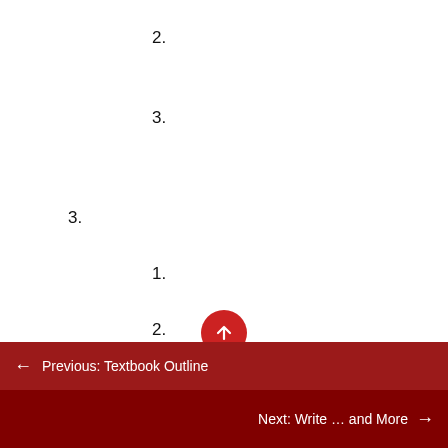2.
3.
3.
1.
2.
4.
← Previous: Textbook Outline
Next: Write … and More →